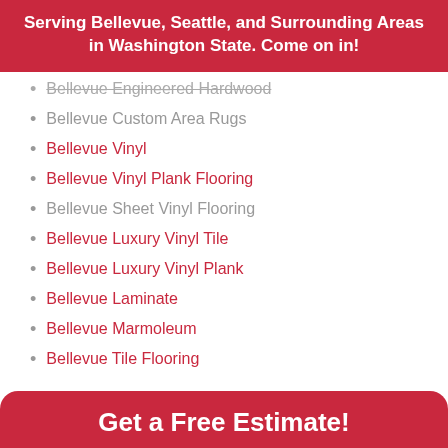Serving Bellevue, Seattle, and Surrounding Areas in Washington State. Come on in!
Bellevue Engineered Hardwood
Bellevue Custom Area Rugs
Bellevue Vinyl
Bellevue Vinyl Plank Flooring
Bellevue Sheet Vinyl Flooring
Bellevue Luxury Vinyl Tile
Bellevue Luxury Vinyl Plank
Bellevue Laminate
Bellevue Marmoleum
Bellevue Tile Flooring
Get a Free Estimate!